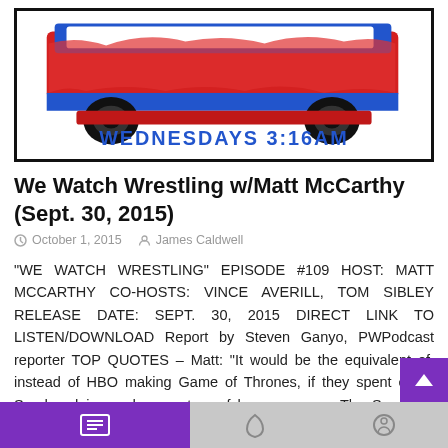[Figure (illustration): Cartoon illustration of a pickup truck in red and blue crayon style with text 'WEDNESDAYS 3:16AM' in blue letters on white background, bordered by thick black frame]
We Watch Wrestling w/Matt McCarthy (Sept. 30, 2015)
October 1, 2015   James Caldwell
“WE WATCH WRESTLING” EPISODE #109 HOST: MATT MCCARTHY CO-HOSTS: VINCE AVERILL, TOM SIBLEY RELEASE DATE: SEPT. 30, 2015 DIRECT LINK TO LISTEN/DOWNLOAD Report by Steven Ganyo, PWPodcast reporter TOP QUOTES – Matt: “It would be the equivalent of, instead of HBO making Game of Thrones, if they spent every Sunday doing a documentary of how awesome The Sopranos used to be.” – [...]